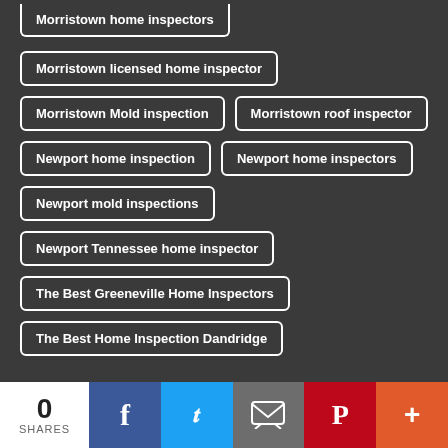Morristown licensed home inspector
Morristown Mold inspection
Morristown roof inspector
Newport home inspection
Newport home inspectors
Newport mold inspections
Newport Tennessee home inspector
The Best Greeneville Home Inspectors
The Best Home Inspection Dandridge
RECENT POSTS
0 SHARES | Facebook | Twitter | Email | Pinterest | More